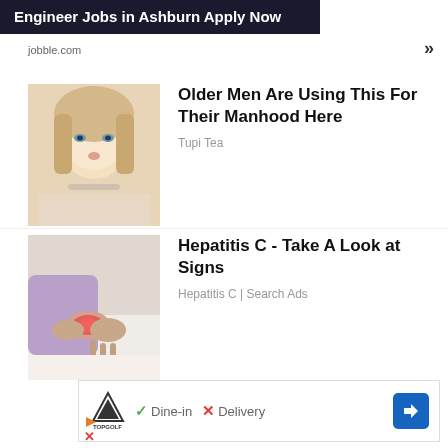[Figure (infographic): Ad banner with dark background: Engineer Jobs in Ashburn Apply Now]
jobble.com
[Figure (photo): Photo of a blonde woman lying down]
Older Men Are Using This For Their Manhood Here
Tupi Tea
[Figure (photo): Photo of a person holding their wrist with redness indication]
Hepatitis C - Take A Look at Signs
Hepatitis C | Search Ads
[Figure (infographic): Topgolf ad banner with logo, Dine-in checkmark, Delivery X, navigation arrow icon]